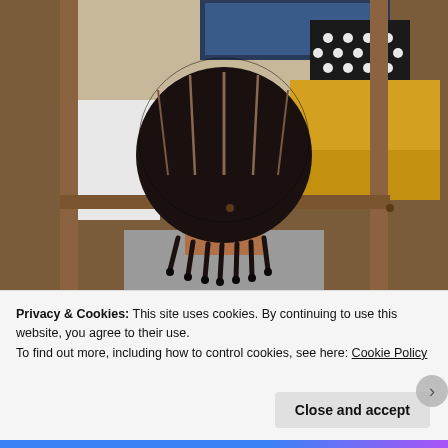[Figure (photo): Back view of a person with cornrow braids sitting in a dorm room. A lofted wooden bed frame is visible with yellow bedding, a laptop, and a black and white polka-dot pillow. The person is wearing a grey top.]
Privacy & Cookies: This site uses cookies. By continuing to use this website, you agree to their use.
To find out more, including how to control cookies, see here: Cookie Policy